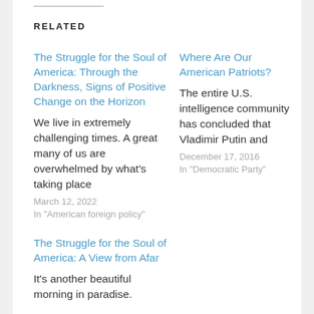RELATED
The Struggle for the Soul of America: Through the Darkness, Signs of Positive Change on the Horizon
We live in extremely challenging times. A great many of us are overwhelmed by what's taking place
March 12, 2022
In "American foreign policy"
Where Are Our American Patriots?
The entire U.S. intelligence community has concluded that Vladimir Putin and
December 17, 2016
In "Democratic Party"
The Struggle for the Soul of America: A View from Afar
It's another beautiful morning in paradise.